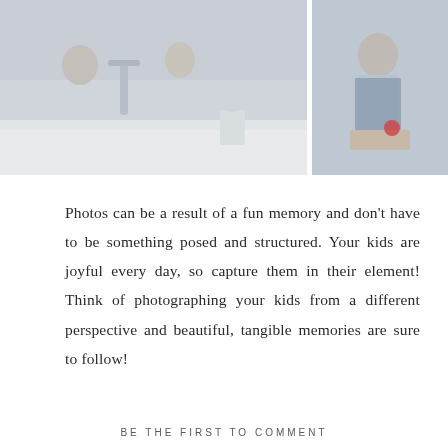[Figure (photo): Two side-by-side lifestyle photos of children in a kitchen setting. Left photo shows children around a kitchen sink/faucet area with white marble countertops. Right photo shows a child sitting, wearing denim.]
Photos can be a result of a fun memory and don't have to be something posed and structured. Your kids are joyful every day, so capture them in their element! Think of photographing your kids from a different perspective and beautiful, tangible memories are sure to follow!
BE THE FIRST TO COMMENT